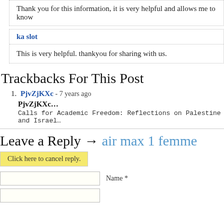Thank you for this information, it is very helpful and allows me to know
ka slot
This is very helpful. thankyou for sharing with us.
Trackbacks For This Post
PjvZjKXc - 7 years ago
PjvZjKXc...
Calls for Academic Freedom: Reflections on Palestine and Israel…
Leave a Reply → air max 1 femme
Click here to cancel reply.
Name *